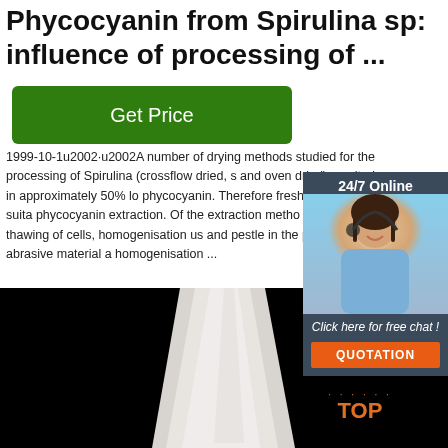Phycocyanin from Spirulina sp: influence of processing of ...
1999-10-1u2002·u2002A number of drying methods studied for the processing of Spirulina (crossflow dried, s and oven dried) resulted in approximately 50% lo phycocyanin. Therefore fresh biomass was suita phycocyanin extraction. Of the extraction metho freezing and thawing of cells, homogenisation us and pestle in the presence of abrasive material a homogenisation ...
[Figure (other): 24/7 Online chat advertisement widget with a customer service woman wearing a headset, dark blue/grey background, 'Click here for free chat!' text, and orange QUOTATION button]
[Figure (photo): Black background image showing a pointed white/grey blade or fin shape in the center, with an orange TOP logo in the bottom right corner]